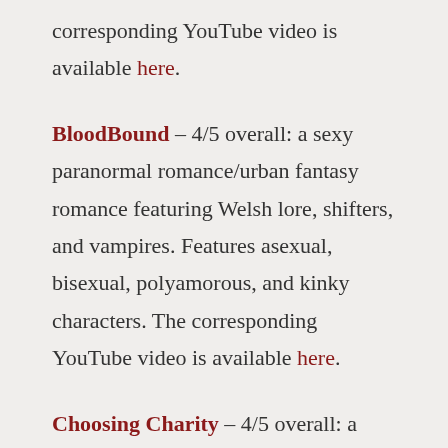corresponding YouTube video is available here.
BloodBound – 4/5 overall: a sexy paranormal romance/urban fantasy romance featuring Welsh lore, shifters, and vampires. Features asexual, bisexual, polyamorous, and kinky characters. The corresponding YouTube video is available here.
Choosing Charity – 4/5 overall: a